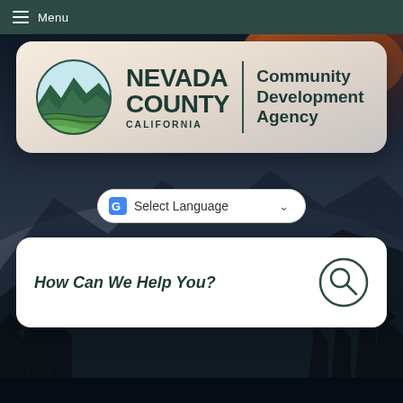Menu
[Figure (logo): Nevada County California Community Development Agency logo with mountain/landscape circle emblem]
Select Language
How Can We Help You?